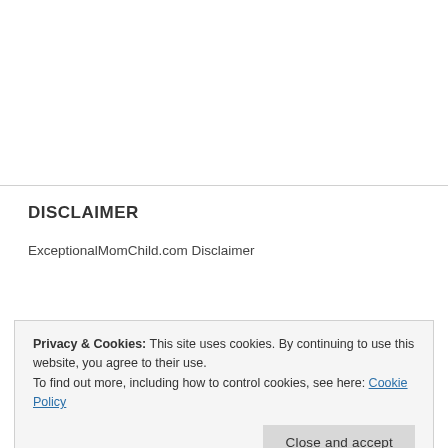DISCLAIMER
ExceptionalMomChild.com Disclaimer
Privacy & Cookies: This site uses cookies. By continuing to use this website, you agree to their use.
To find out more, including how to control cookies, see here: Cookie Policy
Close and accept